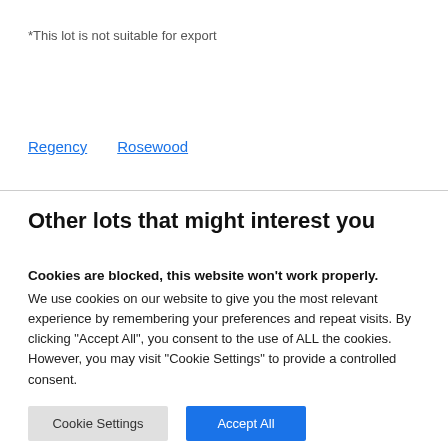*This lot is not suitable for export
Regency   Rosewood
Other lots that might interest you
Cookies are blocked, this website won't work properly. We use cookies on our website to give you the most relevant experience by remembering your preferences and repeat visits. By clicking "Accept All", you consent to the use of ALL the cookies. However, you may visit "Cookie Settings" to provide a controlled consent.